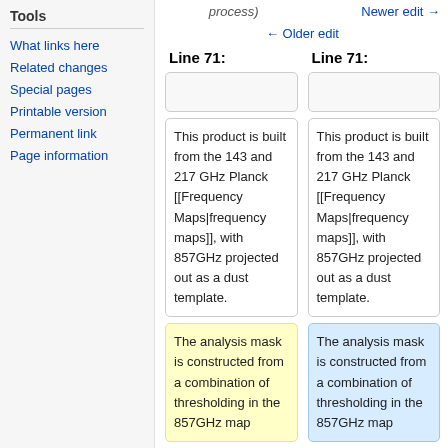Tools
What links here
Related changes
Special pages
Printable version
Permanent link
Page information
process)
Newer edit →
← Older edit
Line 71:
Line 71:
This product is built from the 143 and 217 GHz Planck [[Frequency Maps|frequency maps]], with 857GHz projected out as a dust template.
This product is built from the 143 and 217 GHz Planck [[Frequency Maps|frequency maps]], with 857GHz projected out as a dust template.
The analysis mask is constructed from a combination of thresholding in the 857GHz map
The analysis mask is constructed from a combination of thresholding in the 857GHz map